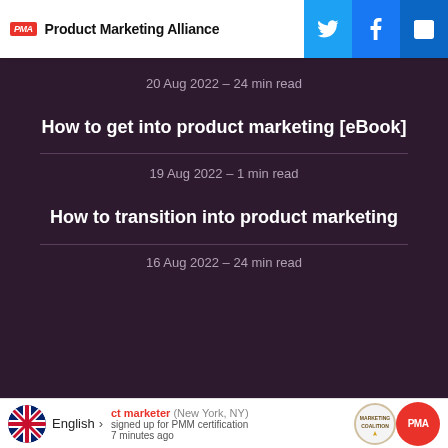Product Marketing Alliance
20 Aug 2022 – 24 min read
How to get into product marketing [eBook]
19 Aug 2022 – 1 min read
How to transition into product marketing
16 Aug 2022 – 24 min read
ct marketer (New York, NY) signed up for PMM certification 7 minutes ago